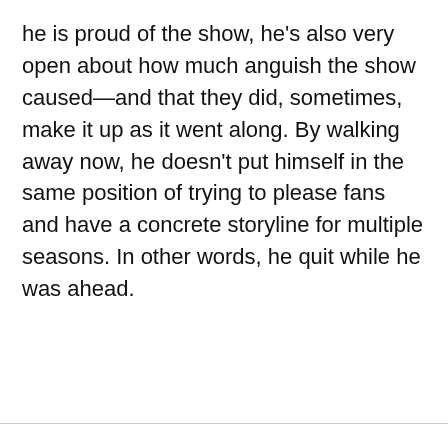he is proud of the show, he's also very open about how much anguish the show caused—and that they did, sometimes, make it up as it went along. By walking away now, he doesn't put himself in the same position of trying to please fans and have a concrete storyline for multiple seasons. In other words, he quit while he was ahead.